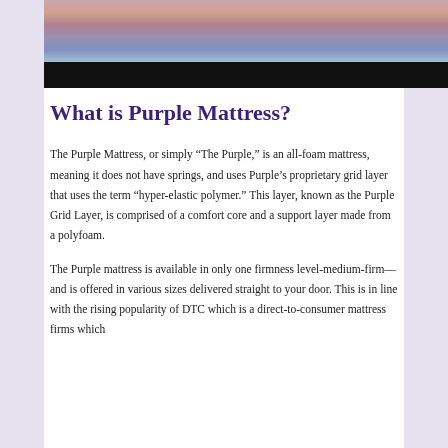[Figure (photo): Photo of people at the top of the page, with a black bar at the bottom of the image]
What is Purple Mattress?
The Purple Mattress, or simply “The Purple,” is an all-foam mattress, meaning it does not have springs, and uses Purple’s proprietary grid layer that uses the term “hyper-elastic polymer.” This layer, known as the Purple Grid Layer, is comprised of a comfort core and a support layer made from a polyfoam.
The Purple mattress is available in only one firmness level-medium-firm— and is offered in various sizes delivered straight to your door. This is in line with the rising popularity of DTC which is a direct-to-consumer mattress firms which